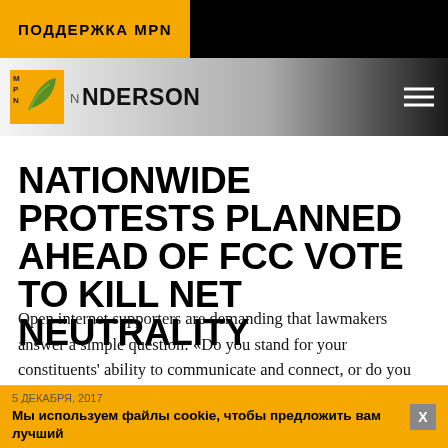ПОДДЕРЖКА MPN
[Figure (logo): MPN Anderson news site logo with yellow box and stylized leaf graphic]
NATIONWIDE PROTESTS PLANNED AHEAD OF FCC VOTE TO KILL NET NEUTRALITY
Open internet supporters are demanding that lawmakers answer a simple question: «Do you stand for your constituents' ability to communicate and connect, or do you stand for Verizon's bottom line?»
5 ДЕКАБРЯ, 2017
Мы используем файлы cookie, чтобы предложить вам лучший